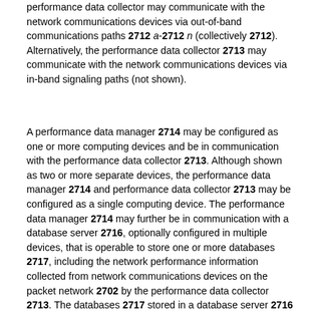performance data collector may communicate with the network communications devices via out-of-band communications paths 2712 a-2712 n (collectively 2712). Alternatively, the performance data collector 2713 may communicate with the network communications devices via in-band signaling paths (not shown).
A performance data manager 2714 may be configured as one or more computing devices and be in communication with the performance data collector 2713. Although shown as two or more separate devices, the performance data manager 2714 and performance data collector 2713 may be configured as a single computing device. The performance data manager 2714 may further be in communication with a database server 2716, optionally configured in multiple devices, that is operable to store one or more databases 2717, including the network performance information collected from network communications devices on the packet network 2702 by the performance data collector 2713. The databases 2717 stored in a database server 2716 may be managed by an off-the-shelf database system, such as an Oracle® database or any other commercially available database.